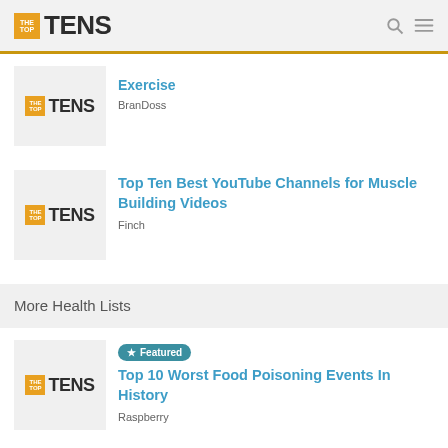THE TOP TENS
Exercise — BranDoss
Top Ten Best YouTube Channels for Muscle Building Videos — Finch
More Health Lists
Featured — Top 10 Worst Food Poisoning Events In History — Raspberry